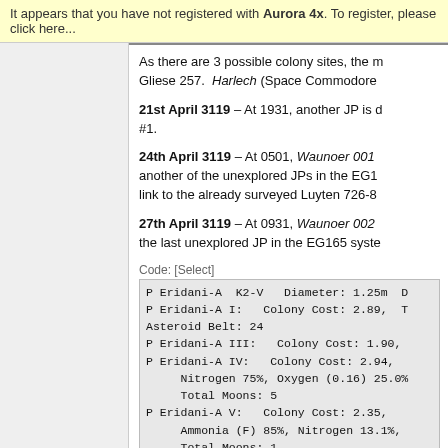It appears that you have not registered with Aurora 4x. To register, please click here...
As there are 3 possible colony sites, the m Gliese 257. Harlech (Space Commodore
21st April 3119 – At 1931, another JP is d #1.
24th April 3119 – At 0501, Waunoer 001 another of the unexplored JPs in the EG1 link to the already surveyed Luyten 726-8
27th April 3119 – At 0931, Waunoer 002 the last unexplored JP in the EG165 syste
Code: [Select]
| P Eridani-A  K2-V  Diameter: 1.25m  D |
| P Eridani-A I:  Colony Cost: 2.89,  T |
| Asteroid Belt: 24 |
| P Eridani-A III:  Colony Cost: 1.90, |
| P Eridani-A IV:  Colony Cost: 2.94, |
|      Nitrogen 75%, Oxygen (0.16) 25.0% |
|      Total Moons: 5 |
| P Eridani-A V:  Colony Cost: 2.35,  T |
|      Ammonia (F) 85%, Nitrogen 13.1%, |
|      Total Moons: 1 |